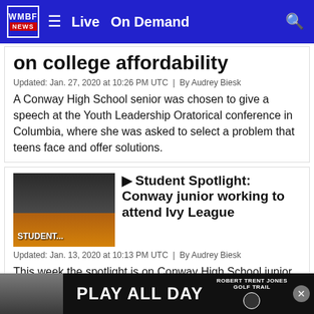WMBF NEWS | Live | On Demand
on college affordability
Updated: Jan. 27, 2020 at 10:26 PM UTC  |  By Audrey Biesk
A Conway High School senior was chosen to give a speech at the Youth Leadership Oratorical conference in Columbia, where she was asked to select a problem that teens face and offer solutions.
[Figure (photo): Thumbnail image of student with tiger graphic overlay, labeled STUDENT...]
Student Spotlight: Conway junior working to attend Ivy League
Updated: Jan. 13, 2020 at 10:13 PM UTC  |  By Audrey Biesk
This week the spotlight is on Conway High School junior Christopher Dewitt, who has a 4.6 grade point average and has high hopes of one day attending Harvard or Stanford.
[Figure (photo): Robert Trent Jones Golf Trail advertisement banner: PLAY ALL DAY]